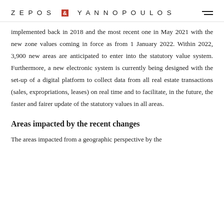ZEPOS & YANNOPOULOS
implemented back in 2018 and the most recent one in May 2021 with the new zone values coming in force as from 1 January 2022. Within 2022, 3,900 new areas are anticipated to enter into the statutory value system. Furthermore, a new electronic system is currently being designed with the set-up of a digital platform to collect data from all real estate transactions (sales, expropriations, leases) on real time and to facilitate, in the future, the faster and fairer update of the statutory values in all areas.
Areas impacted by the recent changes
The areas impacted from a geographic perspective by the